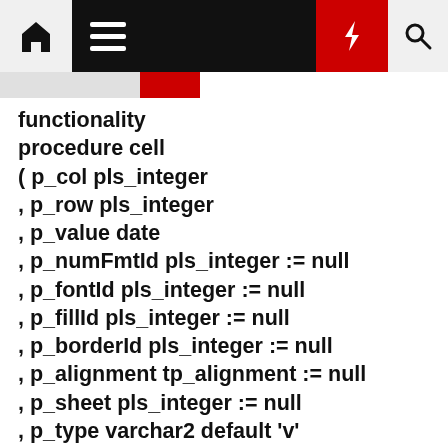navigation bar with home, menu, bolt, search icons
functionality
procedure cell
( p_col pls_integer
, p_row pls_integer
, p_value date
, p_numFmtId pls_integer := null
, p_fontId pls_integer := null
, p_fillId pls_integer := null
, p_borderId pls_integer := null
, p_alignment tp_alignment := null
, p_sheet pls_integer := null
, p_type varchar2 default 'v'
, p_formula varchar2 default null
)
is
t_numFmtId pls_integer := p_numFmtId;
t_sheet pls_integer := null( p_sheet